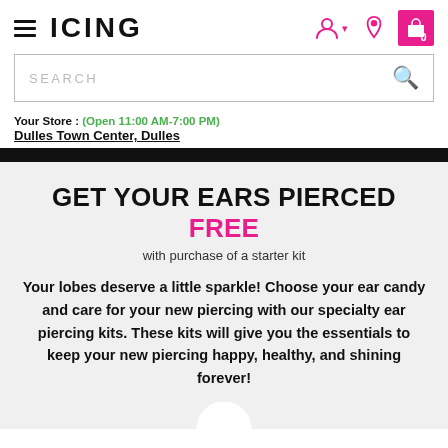[Figure (logo): ICING logo with hamburger menu icon on the left]
[Figure (screenshot): Search bar with placeholder text SEARCH and magnifying glass icon]
Your Store : (Open 11:00 AM-7:00 PM) Dulles Town Center, Dulles
GET YOUR EARS PIERCED FREE with purchase of a starter kit
Your lobes deserve a little sparkle! Choose your ear candy and care for your new piercing with our specialty ear piercing kits. These kits will give you the essentials to keep your new piercing happy, healthy, and shining forever!